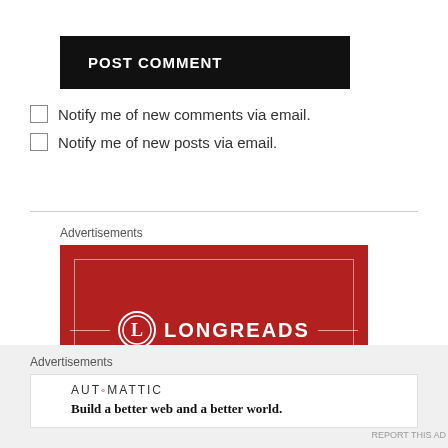POST COMMENT
Notify me of new comments via email.
Notify me of new posts via email.
[Figure (screenshot): Longreads advertisement banner — red background with Longreads logo (circle with L) and LONGREADS text, decorative inner border frame]
Advertisements
[Figure (screenshot): Automattic advertisement — white background with AUTOMATTIC logo and tagline: Build a better web and a better world.]
Advertisements